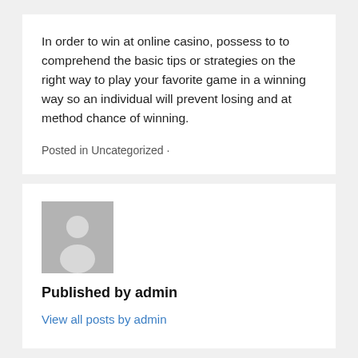In order to win at online casino, possess to to comprehend the basic tips or strategies on the right way to play your favorite game in a winning way so an individual will prevent losing and at method chance of winning.
Posted in Uncategorized ·
[Figure (illustration): Generic grey avatar/profile placeholder image with a silhouette of a person]
Published by admin
View all posts by admin